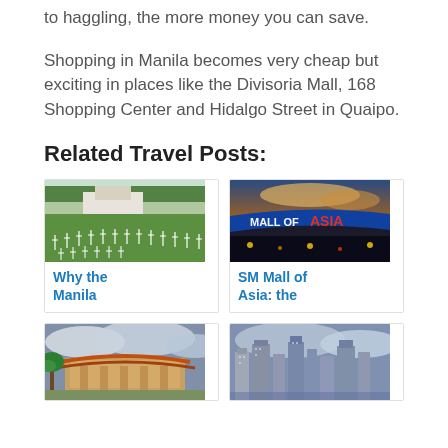to haggling, the more money you can save.
Shopping in Manila becomes very cheap but exciting in places like the Divisoria Mall, 168 Shopping Center and Hidalgo Street in Quaipo.
Related Travel Posts:
[Figure (photo): Aerial view of a cemetery with rows of white crosses on green lawn with trees in background]
Why the Manila
[Figure (photo): Mall of Asia building exterior at dusk/night with illuminated blue and red signage]
SM Mall of Asia: the
[Figure (photo): Traditional Asian-style building with orange/red curved roof and palm trees under cloudy sky]
[Figure (photo): Manila city skyline with modern high-rise buildings under cloudy sky]